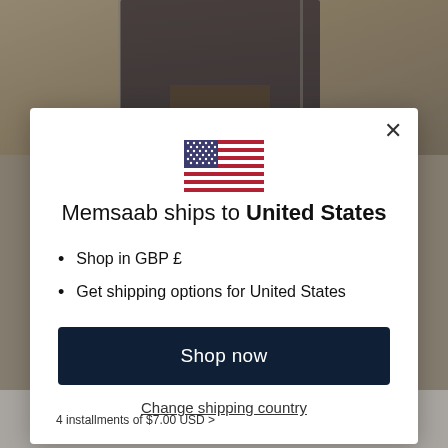[Figure (screenshot): Background photo of a person wearing dark clothing and boots, partially visible behind the modal dialog]
[Figure (illustration): US flag icon/emoji displayed centered in the modal dialog]
Memsaab ships to United States
Shop in GBP £
Get shipping options for United States
Shop now
Change shipping country
USD > Privacy · Terms